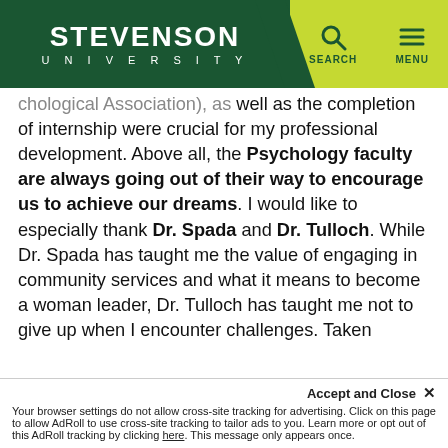STEVENSON UNIVERSITY — SEARCH / MENU nav bar
chological Association), as well as the completion of internship were crucial for my professional development. Above all, the Psychology faculty are always going out of their way to encourage us to achieve our dreams. I would like to especially thank Dr. Spada and Dr. Tulloch. While Dr. Spada has taught me the value of engaging in community services and what it means to become a woman leader, Dr. Tulloch has taught me not to give up when I encounter challenges. Taken together, I feel very prepared as a result of the excellent education I received as a Psychology major at Stevenson.

I am ending my essay with a piece of advice for our current students. You are all so lucky to be studying at Stevenson...
Accept and Close ✕ Your browser settings do not allow cross-site tracking for advertising. Click on this page to allow AdRoll to use cross-site tracking to tailor ads to you. Learn more or opt out of this AdRoll tracking by clicking here. This message only appears once.